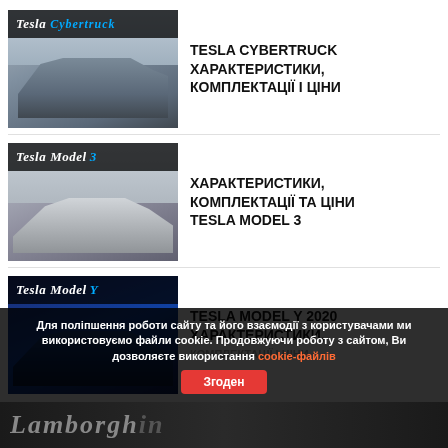[Figure (photo): Tesla Cybertruck promotional image with dark angular truck body on grey/blue sky background, with 'Tesla Cybertruck' logo bar at top]
TESLA CYBERTRUCK ХАРАКТЕРИСТИКИ, КОМПЛЕКТАЦІЇ І ЦІНИ
[Figure (photo): Tesla Model 3 promotional image with silver sedan on grey background, with 'Tesla Model 3' logo bar at top]
ХАРАКТЕРИСТИКИ, КОМПЛЕКТАЦІЇ ТА ЦІНИ TESLA MODEL 3
[Figure (photo): Tesla Model Y promotional image with blue/dark SUV, with 'Tesla Model Y' logo bar at top]
TESLA MODEL Y 2020 ХАРАКТЕРИСТИКИ, КОМПЛЕКТАЦІЇ І ЦІНИ
Для поліпшення роботи сайту та його взаємодії з користувачами ми використовуємо файли cookie. Продовжуючи роботу з сайтом, Ви дозволяєте використання cookie-файлів
Згоден